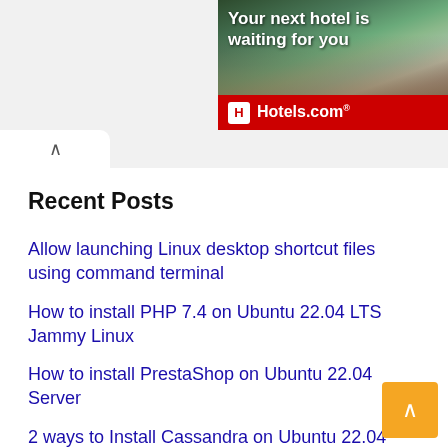[Figure (photo): Hotels.com advertisement banner showing hotel building with text 'Your next hotel is waiting for you' and Hotels.com logo on red background]
Recent Posts
Allow launching Linux desktop shortcut files using command terminal
How to install PHP 7.4 on Ubuntu 22.04 LTS Jammy Linux
How to install PrestaShop on Ubuntu 22.04 Server
2 ways to Install Cassandra on Ubuntu 22.04 LTS Jammy
Command to List Installed Snap Packages